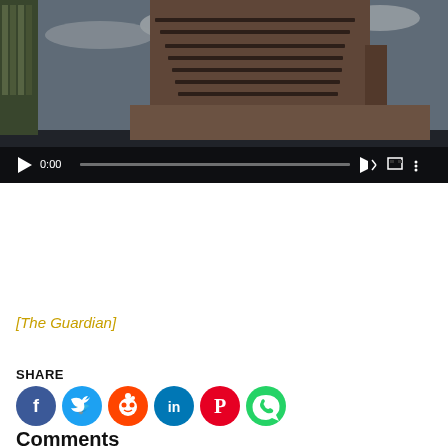[Figure (screenshot): Video player showing a building (Tate Modern extension) with playback controls including play button, time 0:00, progress bar, volume, fullscreen, and more options icons.]
[The Guardian]
SHARE
[Figure (infographic): Row of six social sharing icon buttons: Facebook (blue), Twitter (light blue), Reddit (orange), LinkedIn (teal), Pinterest (red), WhatsApp (green)]
Comments